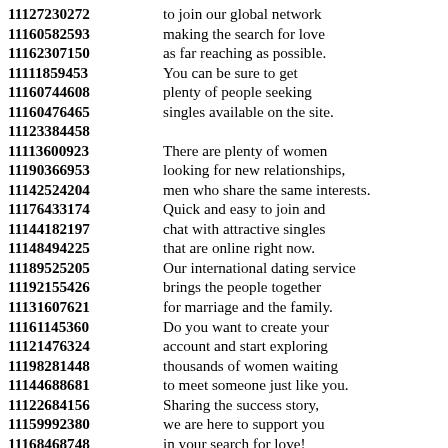11127230272 to join our global network
11160582593 making the search for love
11162307150 as far reaching as possible.
11111859453 You can be sure to get
11160744608 plenty of people seeking
11160476465 singles available on the site.
11123384458
11113600923 There are plenty of women
11190366953 looking for new relationships,
11142524204 men who share the same interests.
11176433174 Quick and easy to join and
11144182197 chat with attractive singles
11148494225 that are online right now.
11189525205 Our international dating service
11192155426 brings the people together
11131607621 for marriage and the family.
11161145360 Do you want to create your
11121476324 account and start exploring
11198281448 thousands of women waiting
11144688681 to meet someone just like you.
11122684156 Sharing the success story,
11159992380 we are here to support you
11168468748 in your search for love!
11130544852 Finding your ideal match
11155294773 in your local neighborhood